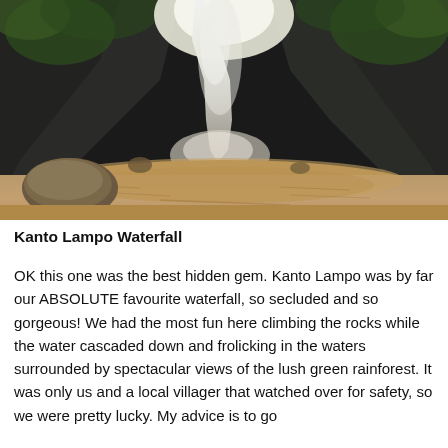[Figure (photo): A waterfall cascading down dark rocky cliffs into a turbulent muddy brown pool below. The waterfall is backlit with bright white light, surrounded by dark green mossy rocks on either side.]
Kanto Lampo Waterfall
OK this one was the best hidden gem. Kanto Lampo was by far our ABSOLUTE favourite waterfall, so secluded and so gorgeous! We had the most fun here climbing the rocks while the water cascaded down and frolicking in the waters surrounded by spectacular views of the lush green rainforest. It was only us and a local villager that watched over for safety, so we were pretty lucky. My advice is to go